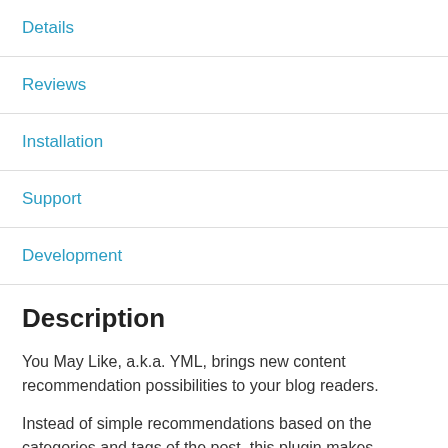Details
Reviews
Installation
Support
Development
Description
You May Like, a.k.a. YML, brings new content recommendation possibilities to your blog readers.
Instead of simple recommendations based on the categories and tags of the post, this plugin makes content recommendations based on previous readings and visitors' visits to your blog.